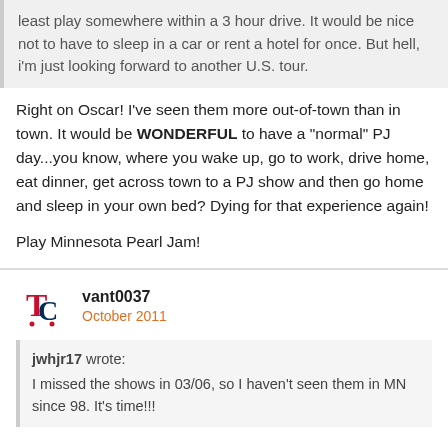least play somewhere within a 3 hour drive. It would be nice not to have to sleep in a car or rent a hotel for once. But hell, i'm just looking forward to another U.S. tour.
Right on Oscar! I've seen them more out-of-town than in town. It would be WONDERFUL to have a "normal" PJ day...you know, where you wake up, go to work, drive home, eat dinner, get across town to a PJ show and then go home and sleep in your own bed? Dying for that experience again!

Play Minnesota Pearl Jam!
vant0037
October 2011
jwhjr17 wrote:
I missed the shows in 03/06, so I haven't seen them in MN since 98. It's time!!!